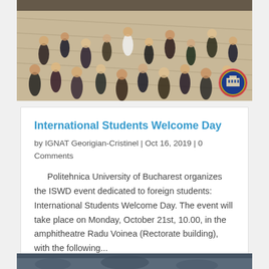[Figure (photo): Aerial view of a large university hall or atrium crowded with students walking around on a wooden floor, with a small circular university logo/seal visible in the bottom-right corner of the image.]
International Students Welcome Day
by IGNAT Georigian-Cristinel | Oct 16, 2019 | 0 Comments
Politehnica University of Bucharest organizes the ISWD event dedicated to foreign students: International Students Welcome Day. The event will take place on Monday, October 21st, 10.00, in the amphitheatre Radu Voinea (Rectorate building), with the following...
read more
[Figure (photo): Partial view of another photo at the bottom of the page, appearing to show an outdoor or interior university scene.]